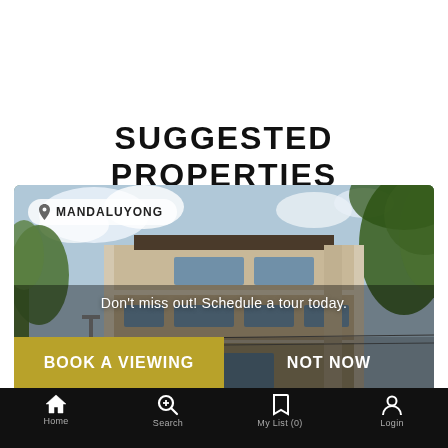SUGGESTED PROPERTIES
[Figure (photo): A multi-story modern house in Mandaluyong with location badge overlay, call-to-action overlay text 'Don't miss out! Schedule a tour today.', and two buttons: 'BOOK A VIEWING' (gold) and 'NOT NOW' (transparent white)]
Home   Search   My List (0)   Login